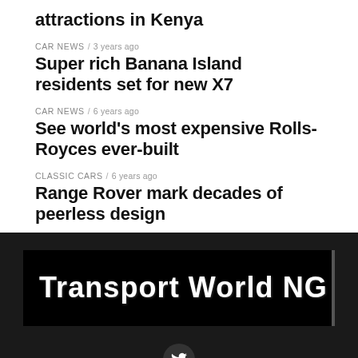attractions in Kenya
CAR NEWS / 3 years ago
Super rich Banana Island residents set for new X7
CAR NEWS / 6 years ago
See world's most expensive Rolls-Royces ever-built
CLASSIC CARS / 6 years ago
Range Rover mark decades of peerless design
[Figure (logo): Transport World NG logo — bold white text on black background with a vertical bar on the right]
[Figure (other): Twitter bird icon button in a dark circle]